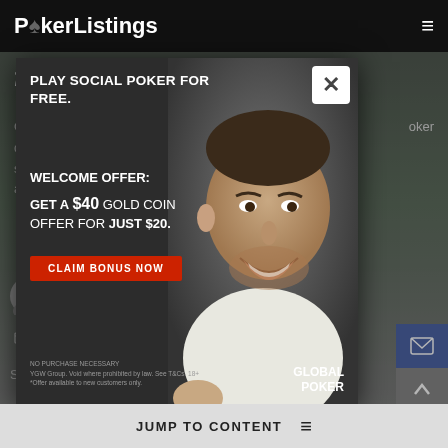PokerListings
from one to another
Online p... differenc... strategy... poker and vice...
D... P...
Septem...
Share
[Figure (screenshot): Global Poker popup advertisement: PLAY SOCIAL POKER FOR FREE. WELCOME OFFER: GET A $40 GOLD COIN OFFER FOR JUST $20. CLAIM BONUS NOW button. Photo of smiling man. NO PURCHASE NECESSARY fine print. GLOBAL POKER logo.]
JUMP TO CONTENT